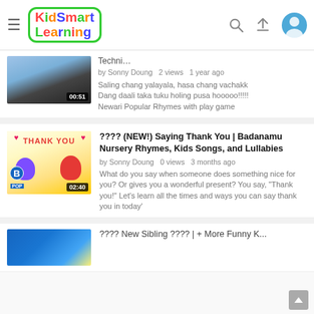KidSmart Learning - YouTube channel header with search, upload and avatar icons
[Figure (screenshot): Partial video thumbnail showing people, duration 00:51]
by Sonny Doung  2 views  1 year ago
Saling chang yalayala, hasa chang vachakk
Dang daali taka tuku holing pusa hooooo!!!!!
Newari Popular Rhymes with play game
[Figure (screenshot): Thank You video thumbnail with cartoon penguins, B POP logo, duration 02:40]
???? (NEW!) Saying Thank You | Badanamu Nursery Rhymes, Kids Songs, and Lullabies
by Sonny Doung  0 views  3 months ago
What do you say when someone does something nice for you? Or gives you a wonderful present? You say, "Thank you!" Let's learn all the times and ways you can say thank you in today'
[Figure (screenshot): Partial thumbnail at bottom of page for another video]
???? New Sibling ???? | + More Funny K...